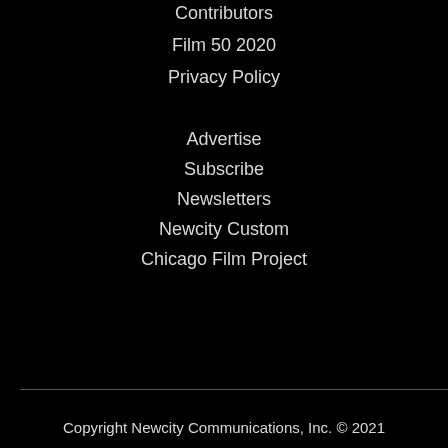Contributors
Film 50 2020
Privacy Policy
Advertise
Subscribe
Newsletters
Newcity Custom
Chicago Film Project
Copyright Newcity Communications, Inc. © 2021